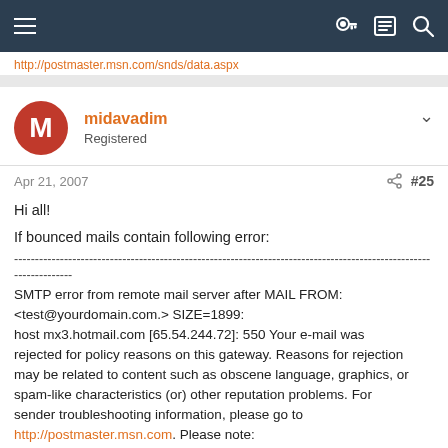Navigation bar with hamburger menu and icons
http://postmaster.msn.com/snds/data.aspx
midavadim
Registered
Apr 21, 2007   #25
Hi all!

If bounced mails contain following error:
------------------------------------------------------------------------------------------------------------
SMTP error from remote mail server after MAIL FROM:<test@yourdomain.com.> SIZE=1899:
host mx3.hotmail.com [65.54.244.72]: 550 Your e-mail was rejected for policy reasons on this gateway. Reasons for rejection may be related to content such as obscene language, graphics, or spam-like characteristics (or) other reputation problems. For sender troubleshooting information, please go to http://postmaster.msn.com. Please note: